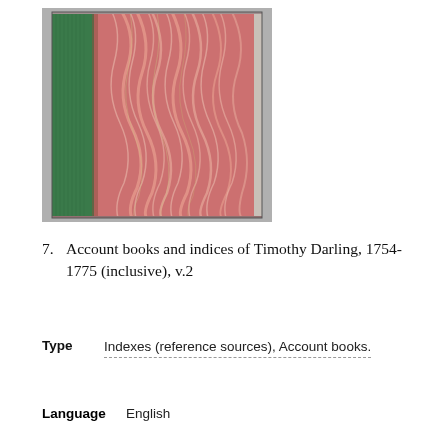[Figure (photo): A book shown standing upright with a green cloth spine on the left and marbled red/pink decorative paper cover on the right, against a gray background.]
7.  Account books and indices of Timothy Darling, 1754-1775 (inclusive), v.2
Type   Indexes (reference sources), Account books.
Language   English